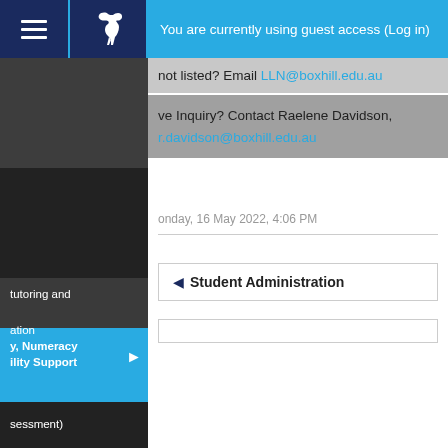You are currently using guest access (Log in)
not listed? Email LLN@boxhill.edu.au
ve Inquiry? Contact Raelene Davidson, r.davidson@boxhill.edu.au
tutoring and
ation
y, Numeracy ility Support
sessment)
Monday, 16 May 2022, 4:06 PM
◄ Student Administration